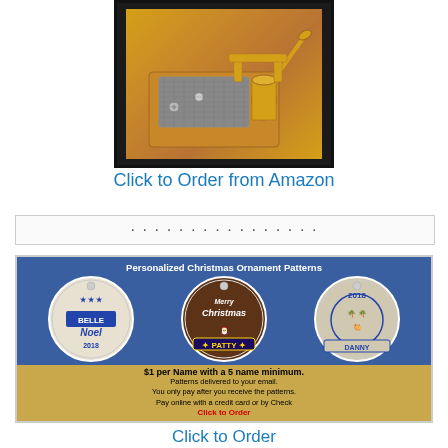[Figure (photo): Gold mechanical music box movement mechanism on black background, showing comb, cylinder, and winding handle in gold/brass color]
Click to Order from Amazon
[Figure (photo): Advertisement for Personalized Christmas Ornament Patterns showing three ornament designs on blue background with wooden bottom section. Shows prices and ordering info.]
Click to Order